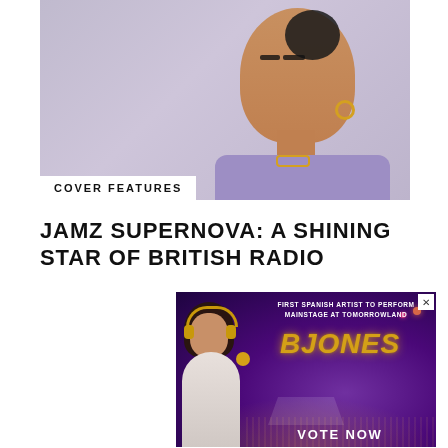[Figure (photo): Portrait photo of Jamz Supernova, a young Black woman wearing a lavender/purple blazer and gold hoop earrings, photographed against a light background]
COVER FEATURES
JAMZ SUPERNOVA: A SHINING STAR OF BRITISH RADIO
[Figure (photo): Advertisement for BJONES - First Spanish Artist to Perform Mainstage at Tomorrowland. Shows a woman DJ with headphones against a festival crowd and stage backdrop with gold ornate text. Bottom reads VOTE NOW.]